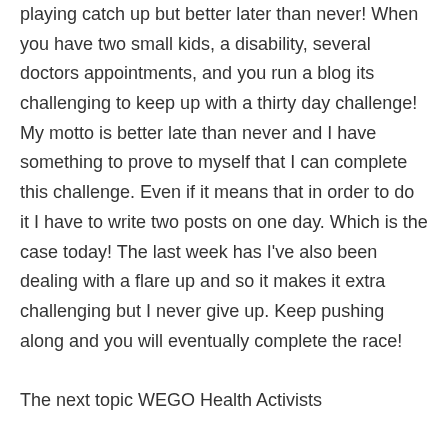playing catch up but better later than never! When you have two small kids, a disability, several doctors appointments, and you run a blog its challenging to keep up with a thirty day challenge! My motto is better late than never and I have something to prove to myself that I can complete this challenge. Even if it means that in order to do it I have to write two posts on one day. Which is the case today! The last week has I've also been dealing with a flare up and so it makes it extra challenging but I never give up. Keep pushing along and you will eventually complete the race!
The next topic WEGO Health Activists